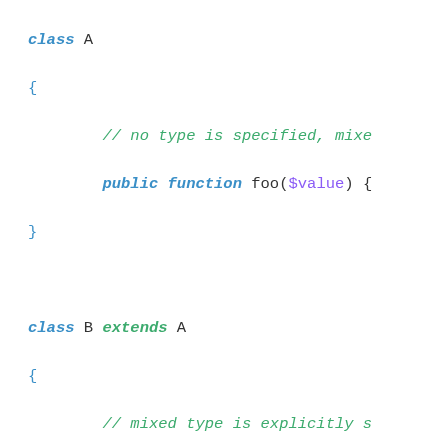[Figure (other): PHP code snippet showing three class definitions: class A with a foo method with no type specified (mixed), class B extending A with foo method explicitly typed as mixed, and class C extending B with foo method with no type specified (mixed, invariant to parent type).]